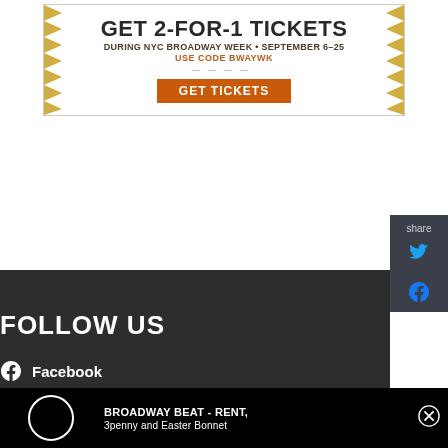[Figure (infographic): NYC Broadway Week advertisement banner: 'GET 2-FOR-1 TICKETS DURING NYC BROADWAY WEEK • SEPTEMBER 6-25 USE CODE BWAYWK GET TICKETS' with gold spike decorative border and orange button]
share
FOLLOW US
Facebook
Twitter
Instagram
[Figure (screenshot): Video player bar at bottom showing circular play button outline and text 'BROADWAY BEAT - RENT, 3penny and Easter Bonnet' with close (X) button]